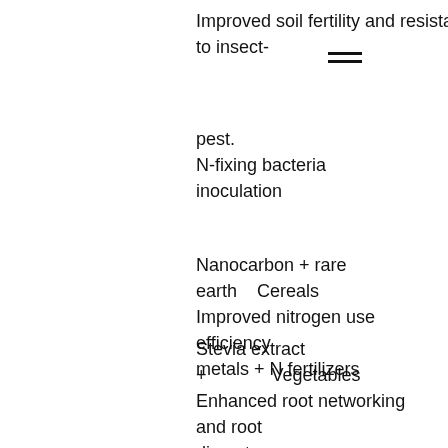Improved soil fertility and resistance to insect-
pest.
N-fixing bacteria inoculation
Nanocarbon + rare earth    Cereals
Improved nitrogen use efficiency metals + N fertilizers
Stevia extract +              Vegetables
Enhanced root networking and root diameter.
nanoparticles of
Se + organo-Ca +
rare-earth
elements + chitosan